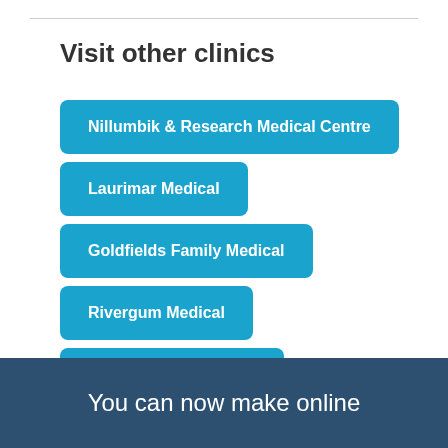Visit other clinics
Nillumbik & Research Medical Centre
Laurimar Medical
Goldfields Family Medical
Rivergum Medical
GP Aged Care Service
You can now make online